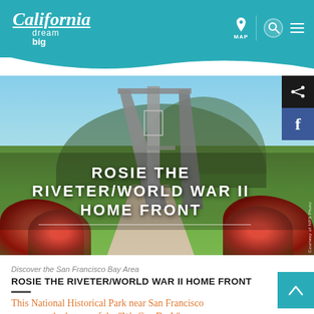California dream big — MAP (navigation icons)
[Figure (photo): Outdoor memorial structure with large angular concrete/metal frame, green trees behind, red roses in foreground, walkway, sunny day at Rosie the Riveter/World War II Home Front National Historical Park]
ROSIE THE RIVETER/WORLD WAR II HOME FRONT
Courtesy of NPS Photo
Discover the San Francisco Bay Area
ROSIE THE RIVETER/WORLD WAR II HOME FRONT
This National Historical Park near San Francisco preserves the legacy of the "We Can Do It" era